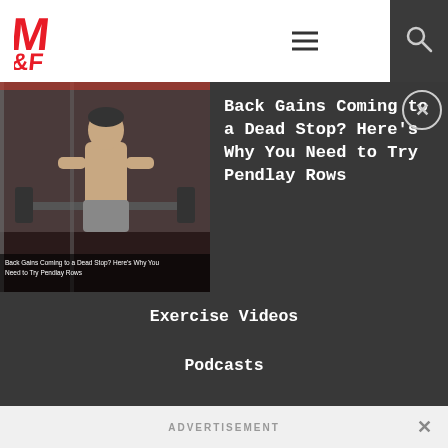[Figure (logo): M&F Muscle & Fitness red logo]
[Figure (screenshot): Navigation menu hamburger icon (three horizontal lines)]
[Figure (screenshot): Search magnifying glass icon on dark background]
[Figure (photo): Gym photo of muscular man doing barbell rows with caption overlay: Back Gains Coming to a Dead Stop? Here's Why You Need to Try Pendlay Rows]
Back Gains Coming to a Dead Stop? Here's Why You Need to Try Pendlay Rows
Exercise Videos
Podcasts
RSS Feed
Muscle&Fitness +
Buy Olympia Tickets
Archives
ADVERTISEMENT